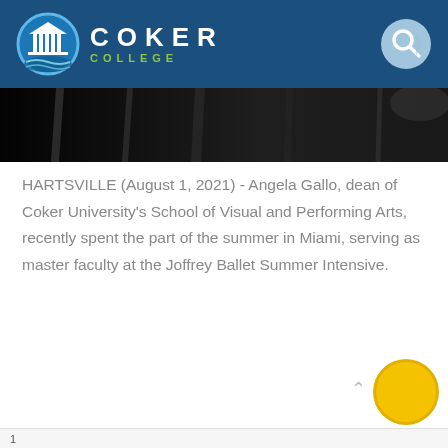[Figure (logo): Coker College logo: circular blue emblem with white pillared building, beside bold white text COKER and green text COLLEGE]
[Figure (photo): Dark/black banner image, appears to be a performance or stage scene with dark curtains]
HARTSVILLE (August 1, 2021) - Angela Gallo, dean of Coker University's School of Visual and Performing Arts, recently spent the part of the summer in Miami, serving as master faculty at the Joffrey Ballet Summer Intensive.
[Figure (other): READ MORE button — teal rounded rectangle button with white bold text]
[Figure (other): Yellow circle icon at bottom right, with upward caret chevron beside it]